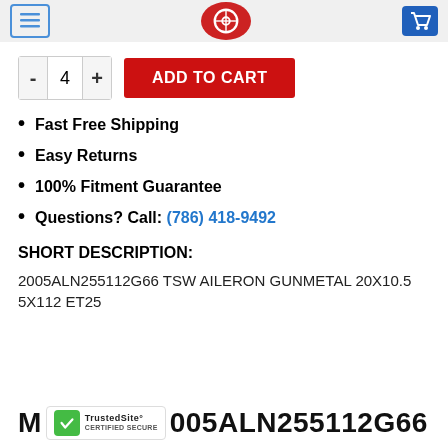Navigation header with menu, logo, and cart icons
- 4 + ADD TO CART
Fast Free Shipping
Easy Returns
100% Fitment Guarantee
Questions? Call: (786) 418-9492
SHORT DESCRIPTION:
2005ALN255112G66 TSW AILERON GUNMETAL 20X10.5 5X112 ET25
M...005ALN255112G66